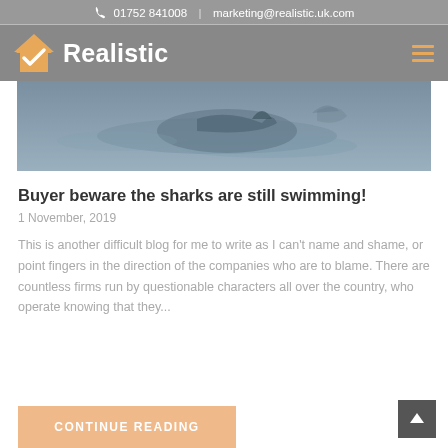01752 841008 | marketing@realistic.uk.com
[Figure (logo): Realistic company logo with house/checkmark icon and hamburger menu]
[Figure (photo): Hero image showing shark swimming underwater, grey-blue tones]
Buyer beware the sharks are still swimming!
1 November, 2019
This is another difficult blog for me to write as I can't name and shame, or point fingers in the direction of the companies who are to blame. There are countless firms run by questionable characters all over the country, who operate knowing that they...
Continue Reading